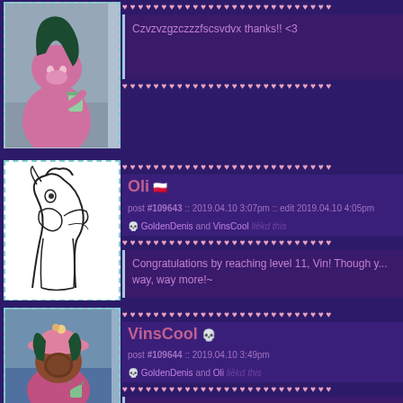[Figure (illustration): Avatar of a pink anthropomorphic character holding a drink, with dark teal hair, against a grey/blue background]
Czvzvzgzczzzfscsvdvx thanks!! <3
[Figure (illustration): Avatar of a white wolf/bird-like creature drawn in sketch style on white background]
Oli 🇵🇱
post #109643 :: 2019.04.10 3:07pm :: edit 2019.04.10 4:05pm
GoldenDenis and VinsCool liēkd this
Congratulations by reaching level 11, Vin! Though y... way, way more!~
After having heard your music, I'm sure you'll shine... in a blink of an eye! Please keep making tunes, the...
[Figure (illustration): Avatar of the same pink anthropomorphic character with dark teal hair and pink hat, holding a drink, against a blue background]
VinsCool 💀
post #109644 :: 2019.04.10 3:49pm
GoldenDenis and Oli liēkd this
Thanks! I will try c: